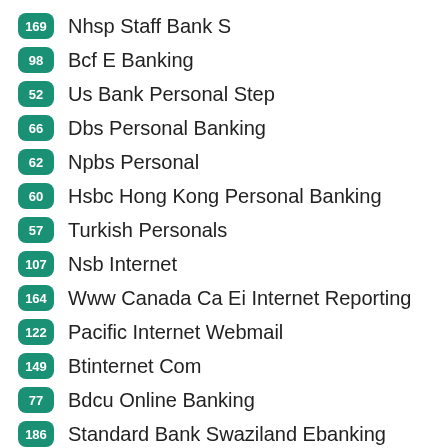169 Nhsp Staff Bank S
98 Bcf E Banking
52 Us Bank Personal Step
66 Dbs Personal Banking
62 Npbs Personal
60 Hsbc Hong Kong Personal Banking
57 Turkish Personals
107 Nsb Internet
164 Www Canada Ca Ei Internet Reporting
122 Pacific Internet Webmail
149 Btinternet Com
77 Bdcu Online Banking
186 Standard Bank Swaziland Ebanking
114 Cb Bank Ibanking